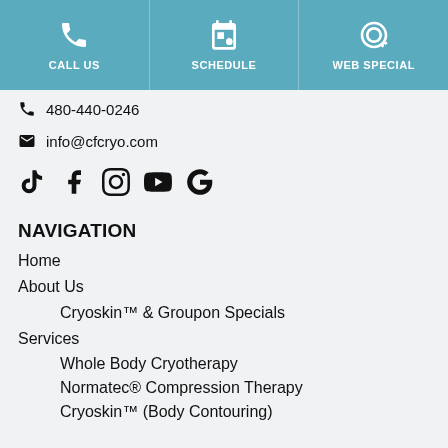CALL US | SCHEDULE | WEB SPECIAL
480-440-0246
info@cfcryo.com
[Figure (infographic): Social media icons: TikTok, Facebook, Instagram, YouTube, Google, Yelp]
NAVIGATION
Home
About Us
Cryoskin™ & Groupon Specials
Services
Whole Body Cryotherapy
Normatec® Compression Therapy
Cryoskin™ (Body Contouring)
FREE Cryo Session Give Away
FAQs
Contact